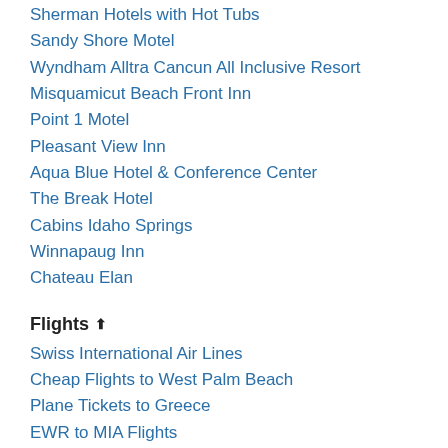Sherman Hotels with Hot Tubs
Sandy Shore Motel
Wyndham Alltra Cancun All Inclusive Resort
Misquamicut Beach Front Inn
Point 1 Motel
Pleasant View Inn
Aqua Blue Hotel & Conference Center
The Break Hotel
Cabins Idaho Springs
Winnapaug Inn
Chateau Elan
Flights ⬆
Swiss International Air Lines
Cheap Flights to West Palm Beach
Plane Tickets to Greece
EWR to MIA Flights
Cheap Flights to Miami
Plane Tickets to San Diego County